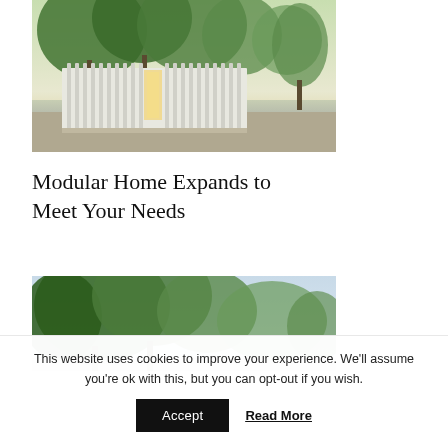[Figure (photo): Modular white slatted container home structure surrounded by green trees near a body of water, viewed from front-left angle. Warm light visible through slats.]
Modular Home Expands to Meet Your Needs
[Figure (photo): Treetops with lush green foliage against a light blue sky, partial view of structure below.]
This website uses cookies to improve your experience. We'll assume you're ok with this, but you can opt-out if you wish.